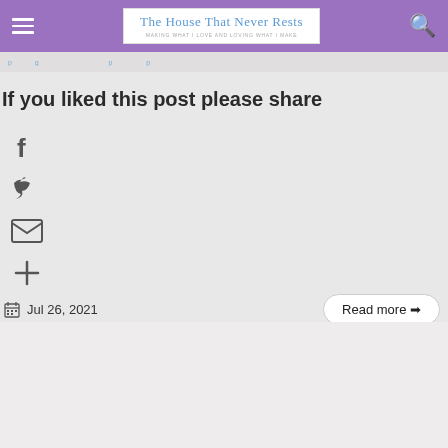The House That Never Rests — MAKING WHAT I LOVE AND LOVING WHAT I MAKE
If you liked this post please share
[Figure (illustration): Social share icons: Facebook, Twitter, Email, Plus/More]
Jul 26, 2021
Read more →